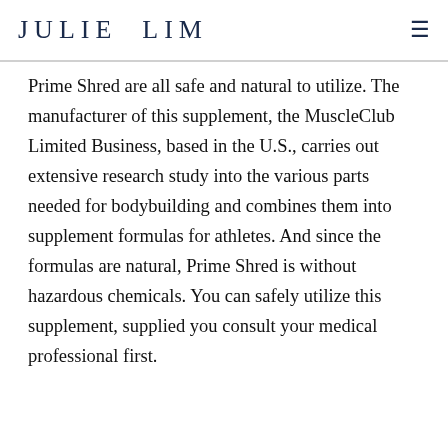JULIE LIM
Prime Shred are all safe and natural to utilize. The manufacturer of this supplement, the MuscleClub Limited Business, based in the U.S., carries out extensive research study into the various parts needed for bodybuilding and combines them into supplement formulas for athletes. And since the formulas are natural, Prime Shred is without hazardous chemicals. You can safely utilize this supplement, supplied you consult your medical professional first.